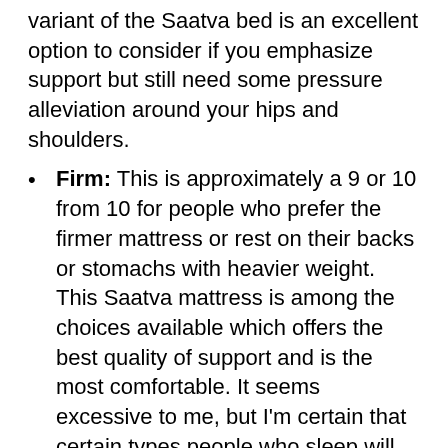variant of the Saatva bed is an excellent option to consider if you emphasize support but still need some pressure alleviation around your hips and shoulders.
Firm: This is approximately a 9 or 10 from 10 for people who prefer the firmer mattress or rest on their backs or stomachs with heavier weight. This Saatva mattress is among the choices available which offers the best quality of support and is the most comfortable. It seems excessive to me, but I'm certain that certain types people who sleep will discover this mattress attractive.